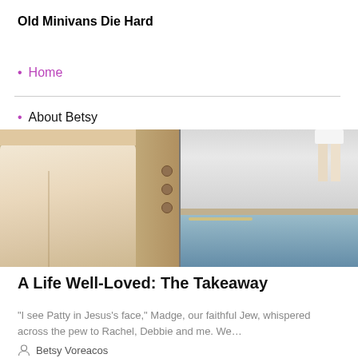Old Minivans Die Hard
Home
About Betsy
[Figure (photo): Two cropped photos side by side: left shows person in cream/beige pants against a padded headboard; right shows person's legs/lower body near a swimming pool edge]
A Life Well-Loved: The Takeaway
"I see Patty in Jesus's face," Madge, our faithful Jew, whispered across the pew to Rachel, Debbie and me. We…
Betsy Voreacos